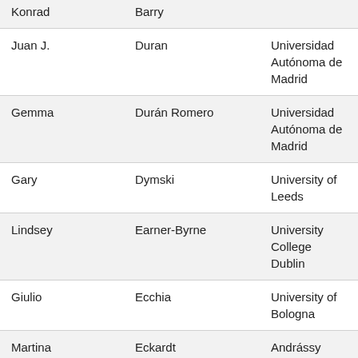| Konrad | Barry |  |
| Juan J. | Duran | Universidad Autónoma de Madrid |
| Gemma | Durán Romero | Universidad Autónoma de Madrid |
| Gary | Dymski | University of Leeds |
| Lindsey | Earner-Byrne | University College Dublin |
| Giulio | Ecchia | University of Bologna |
| Martina | Eckardt | Andrássy University Budapest |
| George | Economides | Athens University of Economics and Business |
| Athina | Economou | University of Thessaly |